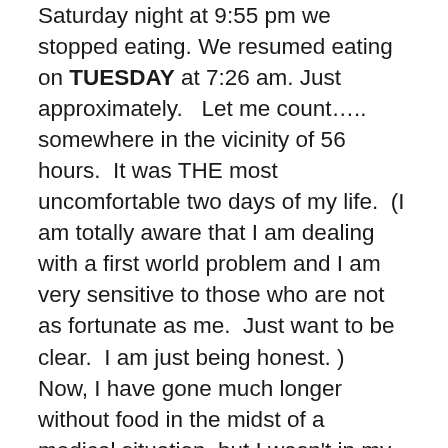Saturday night at 9:55 pm we stopped eating. We resumed eating on TUESDAY at 7:26 am. Just approximately. Let me count..... somewhere in the vicinity of 56 hours. It was THE most uncomfortable two days of my life. (I am totally aware that I am dealing with a first world problem and I am very sensitive to those who are not as fortunate as me. Just want to be clear. I am just being honest.) Now, I have gone much longer without food in the midst of a medical situation, but I wasn't in my right mind and I think they were getting stuff in me somehow. And Pops, oh my goodness, he is still down for the count. Poor guy.
On Monday, he decided to stay home for the fasting was sweating his little brow. 46 hours into the fast he walked in on me watching Dives and Diners (not sure on name). They were in Texas, I think, checking out the Texas size